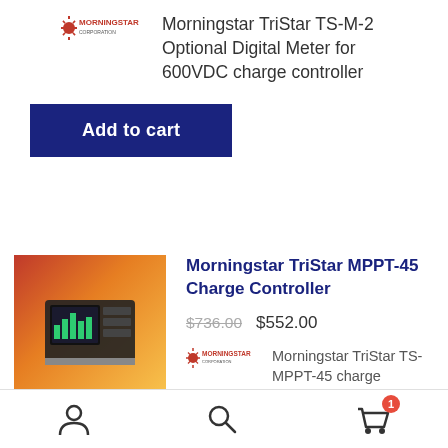[Figure (logo): Morningstar logo (red sun with text MORNINGSTAR)]
Morningstar TriStar TS-M-2 Optional Digital Meter for 600VDC charge controller
Add to cart
[Figure (photo): Morningstar TriStar MPPT-45 charge controller device on orange-red gradient background]
Morningstar TriStar MPPT-45 Charge Controller
$736.00 $552.00
[Figure (logo): Morningstar logo (red sun with text MORNINGSTAR)]
Morningstar TriStar TS-MPPT-45 charge controller |
[Figure (other): Bottom navigation bar with user icon, search icon, and cart icon with badge showing 1]